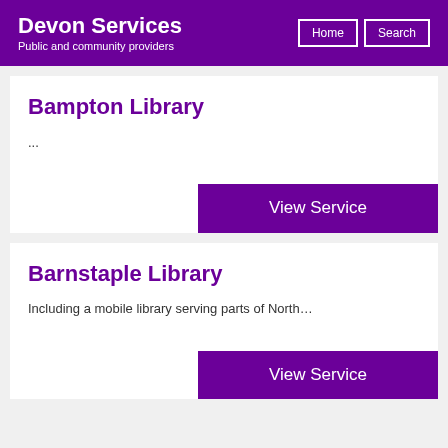Devon Services
Public and community providers
Bampton Library
...
View Service
Barnstaple Library
Including a mobile library serving parts of North...
View Service